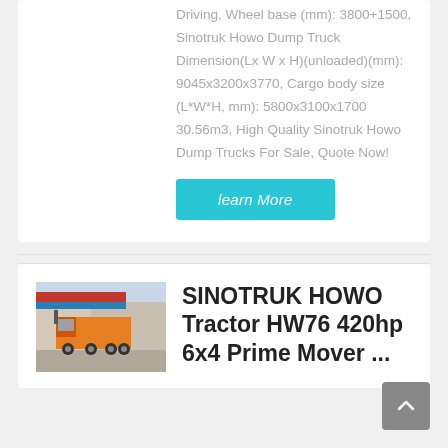Driving, Wheel base (mm): 3800+1500, Sinotruk Howo Dump Truck Dimension(Lx W x H)(unloaded)(mm): 9045x3200x3770, Cargo body size (L*W*H, mm): 5800x3100x1700 30.56m3, High Quality Sinotruk Howo Dump Trucks For Sale, Quote Now!
learn More
[Figure (photo): Rear view of an orange Sinotruk Howo tractor truck parked at a facility with a red and blue banner in the background.]
SINOTRUK HOWO Tractor HW76 420hp 6x4 Prime Mover ...